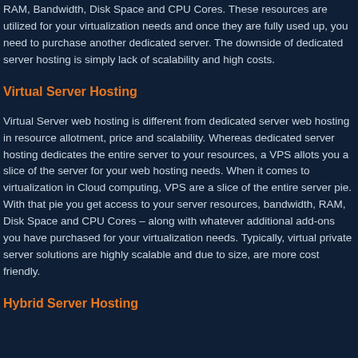RAM, Bandwidth, Disk Space and CPU Cores. These resources are utilized for your virtualization needs and once they are fully used up, you need to purchase another dedicated server. The downside of dedicated server hosting is simply lack of scalability and high costs.
Virtual Server Hosting
Virtual Server web hosting is different from dedicated server web hosting in resource allotment, price and scalability. Whereas dedicated server hosting dedicates the entire server to your resources, a VPS allots you a slice of the server for your web hosting needs. When it comes to virtualization in Cloud computing, VPS are a slice of the entire server pie. With that pie you get access to your server resources, bandwidth, RAM, Disk Space and CPU Cores – along with whatever additional add-ons you have purchased for your virtualization needs. Typically, virtual private server solutions are highly scalable and due to size, are more cost friendly.
Hybrid Server Hosting